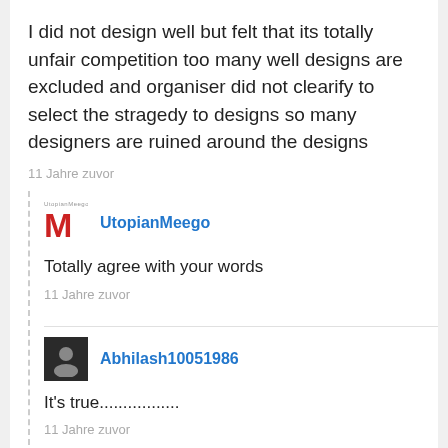I did not design well but felt that its totally unfair competition too many well designs are excluded and organiser did not clearify to select the stragedy to designs so many designers are ruined around the designs
11 Jahre zuvor
UtopianMeego
Totally agree with your words
11 Jahre zuvor
Abhilash10051986
It's true.................
11 Jahre zuvor
raki001